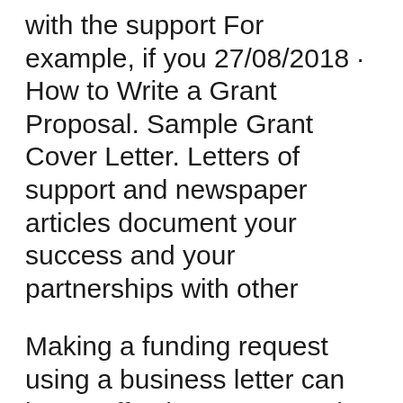with the support For example, if you 27/08/2018 · How to Write a Grant Proposal. Sample Grant Cover Letter. Letters of support and newspaper articles document your success and your partnerships with other
Making a funding request using a business letter can be an effective way to seek financial contributions from corporations, foundations and other potential donors. Writing Letters of Support; Outside Funding Writing Letters of Support. References can use FAIC's Letter of Support Form or submit letters of support
(SAMPLE) LETTER OF SUPPORT FROM